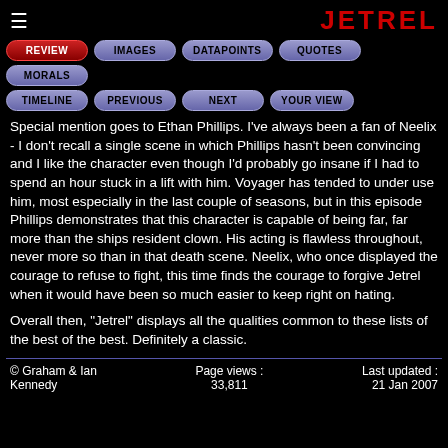≡   JETREL
[Figure (screenshot): Navigation buttons: REVIEW (red), IMAGES, DATAPOINTS, QUOTES, MORALS, TIMELINE, PREVIOUS, NEXT, YOUR VIEW]
Special mention goes to Ethan Phillips. I've always been a fan of Neelix - I don't recall a single scene in which Phillips hasn't been convincing and I like the character even though I'd probably go insane if I had to spend an hour stuck in a lift with him. Voyager has tended to under use him, most especially in the last couple of seasons, but in this episode Phillips demonstrates that this character is capable of being far, far more than the ships resident clown. His acting is flawless throughout, never more so than in that death scene. Neelix, who once displayed the courage to refuse to fight, this time finds the courage to forgive Jetrel when it would have been so much easier to keep right on hating.
Overall then, "Jetrel" displays all the qualities common to these lists of the best of the best. Definitely a classic.
© Graham & Ian Kennedy   Page views : 33,811   Last updated : 21 Jan 2007